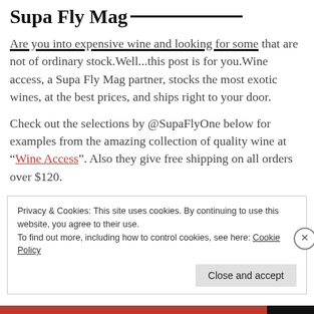Supa Fly Mag
Are you into expensive wine and looking for some that are not of ordinary stock.Well...this post is for you.Wine access, a Supa Fly Mag partner, stocks the most exotic wines, at the best prices, and ships right to your door.
Check out the selections by @SupaFlyOne below for examples from the amazing collection of quality wine at “Wine Access”. Also they give free shipping on all orders over $120.
Privacy & Cookies: This site uses cookies. By continuing to use this website, you agree to their use.
To find out more, including how to control cookies, see here: Cookie Policy